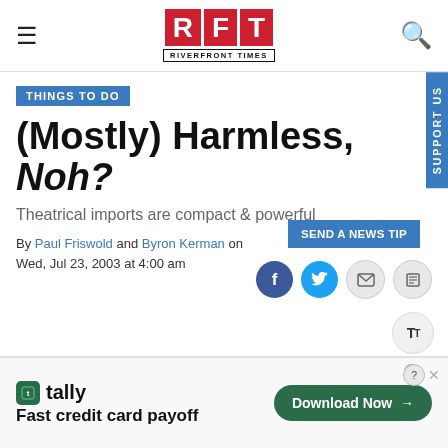RFT RIVERFRONT TIMES
THINGS TO DO
(Mostly) Harmless, Noh?
Theatrical imports are compact & powerful
By Paul Friswold and Byron Kerman on Wed, Jul 23, 2003 at 4:00 am
[Figure (screenshot): Advertisement banner for Tally - Fast credit card payoff app with Download Now button]